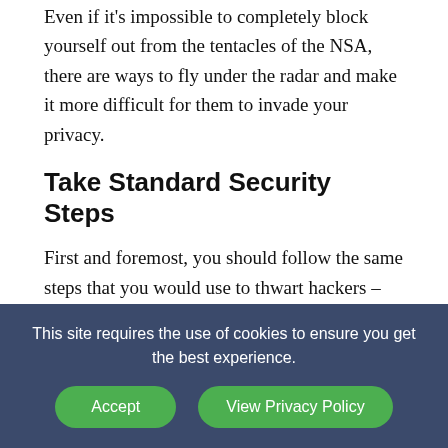Even if it's impossible to completely block yourself out from the tentacles of the NSA, there are ways to fly under the radar and make it more difficult for them to invade your privacy.
Take Standard Security Steps
First and foremost, you should follow the same steps that you would use to thwart hackers – see our article on protecting yourself from hackers if you don't know where to start. It should be no surprise that the NSA makes use of many of the same tactics employed by them. These steps include using complex passwords, security…
This site requires the use of cookies to ensure you get the best experience.
Accept
View Privacy Policy